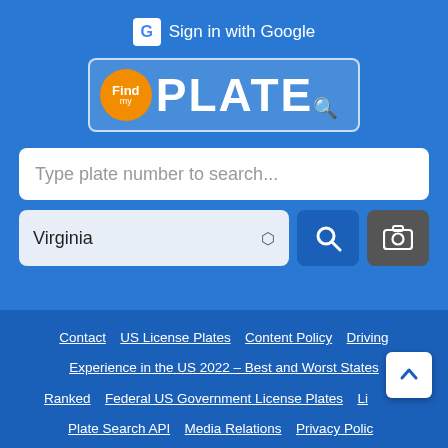[Figure (screenshot): FindMyPlate website header with Google sign-in button, FindPlate logo, license plate search bar with Virginia state selector, and footer navigation links on blue background]
Sign in with Google
Find PLATE
Type plate number to search...
Virginia
Contact | US License Plates | Content Policy | Driving Experience in the US 2022 – Best and Worst States Ranked | Federal US Government License Plates | License Plate Search API | Media Relations | Privacy Policy | Terms of Service | The Most Searched Cars in the US - Infographics | Vanity License Plates | Videos